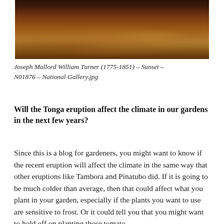[Figure (photo): A painting by Joseph Mallord William Turner showing a dark, atmospheric sunset with warm amber, brown, and dark tones.]
Joseph Mallord William Turner (1775-1851) – Sunset – N01876 – National Gallery.jpg
Will the Tonga eruption affect the climate in our gardens in the next few years?
Since this is a blog for gardeners, you might want to know if the recent eruption will affect the climate in the same way that other eruptions like Tambora and Pinatubo did. If it is going to be much colder than average, then that could affect what you plant in your garden, especially if the plants you want to use are sensitive to frost. Or it could tell you that you might want to hold off on planting those tomato